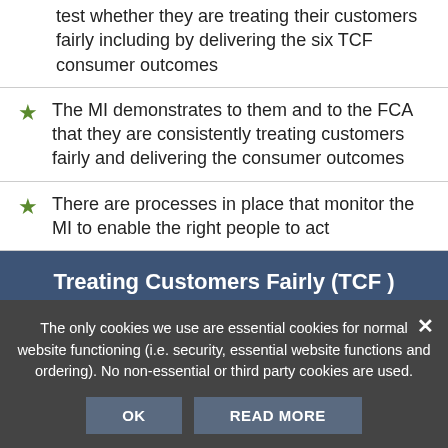test whether they are treating their customers fairly including by delivering the six TCF consumer outcomes
The MI demonstrates to them and to the FCA that they are consistently treating customers fairly and delivering the consumer outcomes
There are processes in place that monitor the MI to enable the right people to act
Treating Customers Fairly (TCF ) Training
Adhering to the Treating Customers Fairly (TCF) principles is a mandatory FCA requirement, with the
"We expect customers interests to bear the heart of how firms think and this can expect to get financial services and products that meet their"
The only cookies we use are essential cookies for normal website functioning (i.e. security, essential website functions and ordering). No non-essential or third party cookies are used.